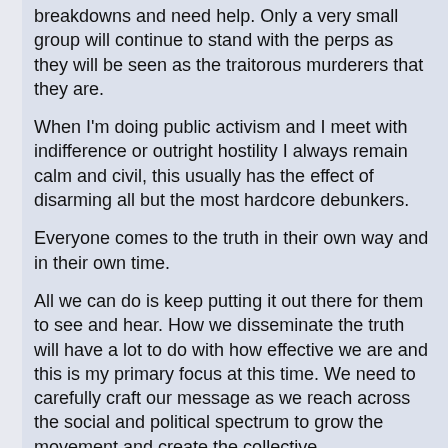breakdowns and need help. Only a very small group will continue to stand with the perps as they will be seen as the traitorous murderers that they are.
When I'm doing public activism and I meet with indifference or outright hostility I always remain calm and civil, this usually has the effect of disarming all but the most hardcore debunkers.
Everyone comes to the truth in their own way and in their own time.
All we can do is keep putting it out there for them to see and hear. How we disseminate the truth will have a lot to do with how effective we are and this is my primary focus at this time. We need to carefully craft our message as we reach across the social and political spectrum to grow the movement and create the collective consciousness needed to restore our constitutional republic.
I hope that you and yours are well.
The truth shall set us free. Love is the only way forward.